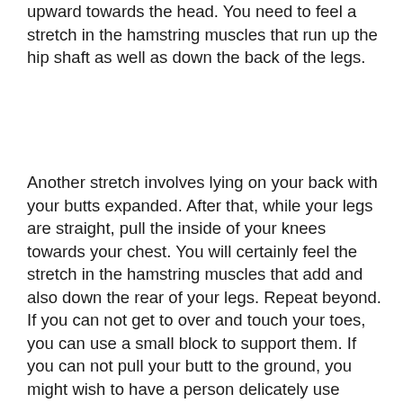upward towards the head. You need to feel a stretch in the hamstring muscles that run up the hip shaft as well as down the back of the legs.
Another stretch involves lying on your back with your butts expanded. After that, while your legs are straight, pull the inside of your knees towards your chest. You will certainly feel the stretch in the hamstring muscles that add and also down the rear of your legs. Repeat beyond. If you can not get to over and touch your toes, you can use a small block to support them. If you can not pull your butt to the ground, you might wish to have a person delicately use stress or take a break.